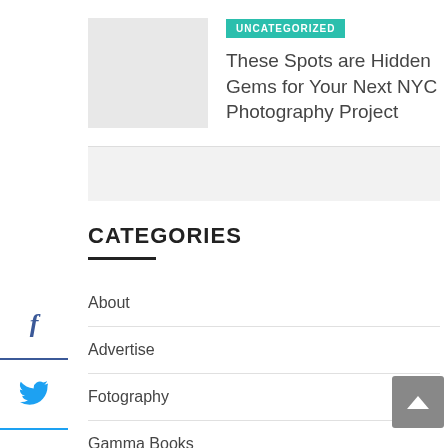[Figure (photo): Placeholder thumbnail image (light gray rectangle) for the article]
UNCATEGORIZED
These Spots are Hidden Gems for Your Next NYC Photography Project
[Figure (infographic): Gray horizontal band separator]
CATEGORIES
About
Advertise
Fotography
Comma Books